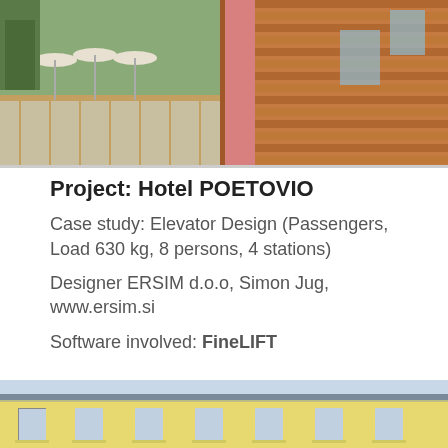[Figure (photo): Aerial/exterior view of a hotel with wooden facade, outdoor terrace with white umbrellas, and mountain trees in background.]
Project: Hotel POETOVIO
Case study: Elevator Design (Passengers, Load 630 kg, 8 persons, 4 stations)
Designer ERSIM d.o.o, Simon Jug, www.ersim.si
Software involved: FineLIFT
[Figure (photo): Exterior view of Hotel Poetovio building with yellow facade and multiple windows.]